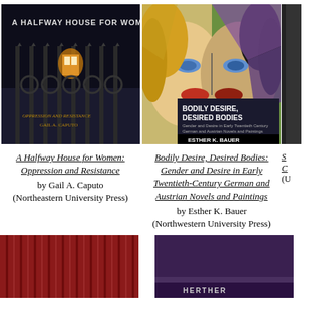[Figure (illustration): Book cover of 'A Halfway House for Women: Oppression and Resistance' by Gail A. Caputo (Northeastern University Press). Dark cover with iron fence and light in background, text at top.]
A Halfway House for Women: Oppression and Resistance
by Gail A. Caputo
(Northeastern University Press)
[Figure (illustration): Book cover of 'Bodily Desire, Desired Bodies: Gender and Desire in Early Twentieth-Century German and Austrian Novels and Paintings' by Esther K. Bauer (Northwestern University Press). Colorful cubist-style face split in two halves.]
Bodily Desire, Desired Bodies: Gender and Desire in Early Twentieth-Century German and Austrian Novels and Paintings
by Esther K. Bauer
(Northwestern University Press)
[Figure (illustration): Partial book cover at bottom left, red/maroon striped or textured cover.]
[Figure (illustration): Partial book cover at bottom right, purple cover with text 'HERTHER' visible at bottom.]